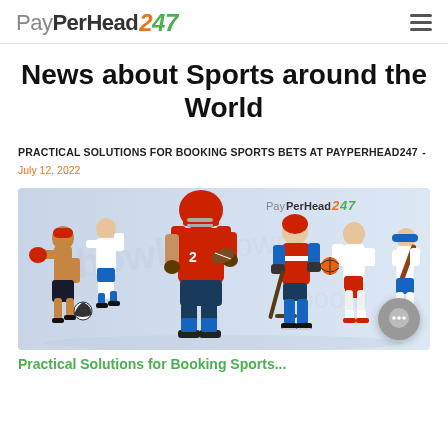PayPerHead247
News about Sports around the World
PRACTICAL SOLUTIONS FOR BOOKING SPORTS BETS AT PAYPERHEAD247 - July 12, 2022
[Figure (photo): Sports collage showing multiple athletes including a boxer, soccer player, American football player in red uniform, hockey player, basketball player, and baseball player, with PayPerHead247 logo watermark]
Practical Solutions for Booking Sports...